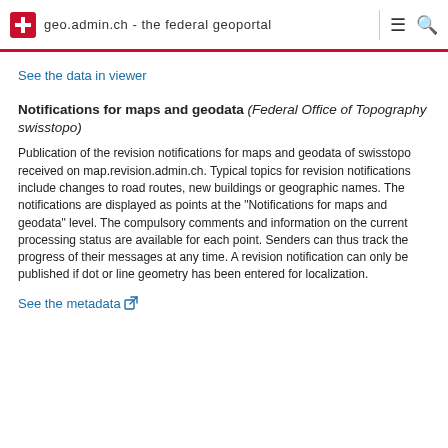geo.admin.ch - the federal geoportal
See the data in viewer
Notifications for maps and geodata (Federal Office of Topography swisstopo)
Publication of the revision notifications for maps and geodata of swisstopo received on map.revision.admin.ch. Typical topics for revision notifications include changes to road routes, new buildings or geographic names. The notifications are displayed as points at the “Notifications for maps and geodata” level. The compulsory comments and information on the current processing status are available for each point. Senders can thus track the progress of their messages at any time. A revision notification can only be published if dot or line geometry has been entered for localization.
See the metadata